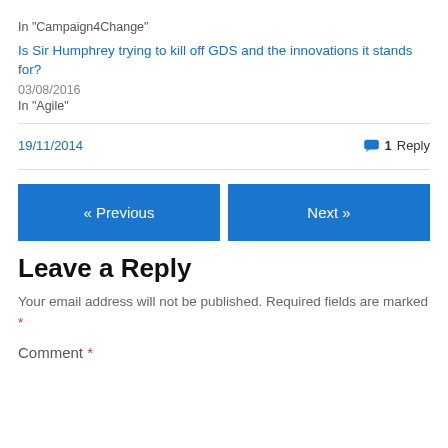In "Campaign4Change"
Is Sir Humphrey trying to kill off GDS and the innovations it stands for?
03/08/2016
In "Agile"
19/11/2014
1 Reply
« Previous
Next »
Leave a Reply
Your email address will not be published. Required fields are marked *
Comment *